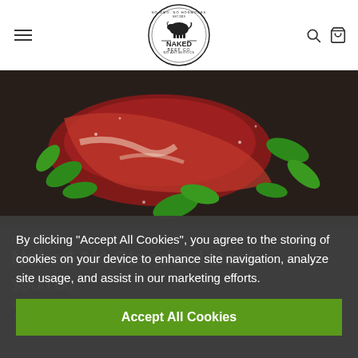Naked Beef Co - Navigation header with logo
[Figure (photo): Raw beef steaks with fresh basil leaves and spices on dark wooden surface]
Naked Beef Co
Naked 1/4 Standard Beef
$900.00
Pay in 4 interest-free payments of $225.00 with Shop Pay | Learn more
By clicking "Accept All Cookies", you agree to the storing of cookies on your device to enhance site navigation, analyze site usage, and assist in our marketing efforts.
Accept All Cookies